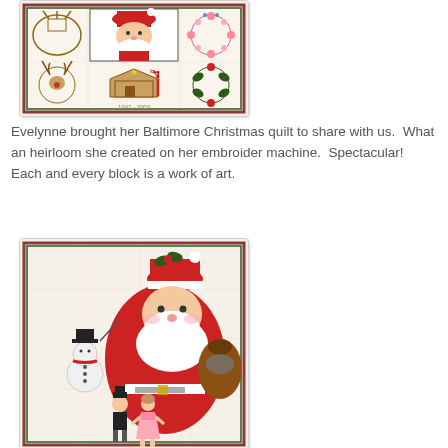[Figure (photo): Photo of a Baltimore Christmas quilt showing multiple embroidered blocks including Santa Claus, reindeer, candy canes, a gingerbread house, floral wreaths, and other Christmas motifs on a white background with a plaid border.]
Evelynne brought her Baltimore Christmas quilt to share with us.  What an heirloom she created on her embroider machine.  Spectacular!  Each and every block is a work of art.
[Figure (photo): Close-up photo of one block from the Baltimore Christmas quilt showing Santa Claus with a white beard and red suit carrying a bag of toys, with a child figure and a doll in the foreground, on a cream/white quilted background with a plaid border.]